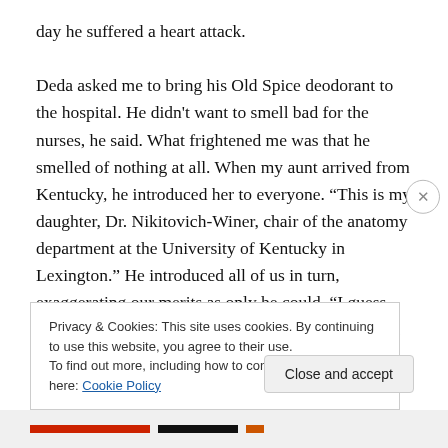day he suffered a heart attack.

Deda asked me to bring his Old Spice deodorant to the hospital. He didn't want to smell bad for the nurses, he said. What frightened me was that he smelled of nothing at all. When my aunt arrived from Kentucky, he introduced her to everyone. “This is my daughter, Dr. Nikitovich-Winer, chair of the anatomy department at the University of Kentucky in Lexington.” He introduced all of us in turn, exaggerating our merits as only he could. “I guess you must be important,” a nurse said. “Well, at least to some
Privacy & Cookies: This site uses cookies. By continuing to use this website, you agree to their use.
To find out more, including how to control cookies, see here: Cookie Policy
Close and accept